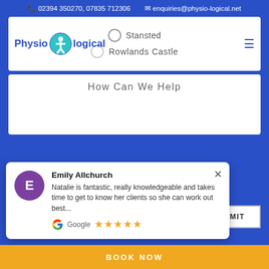02394 350270, 07835 712306  enquiries@physio-logical.net
[Figure (logo): Physio-logical company logo with teal circle icon containing a human figure, and the text 'Physio logical' in blue]
Stansted
Rowlands Castle
How Can We Help
Emily Allchurch
Natalie is fantastic, really knowledgeable and takes time to get to know her clients so she can work out best...
Google ★★★★★
BOOK NOW